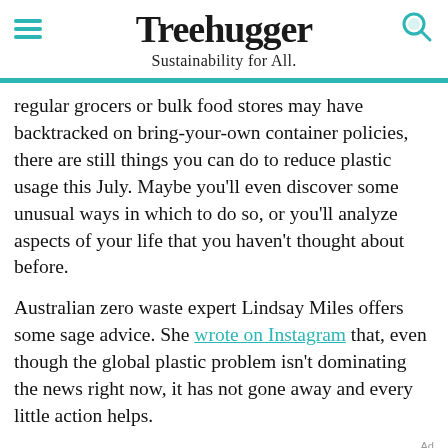Treehugger — Sustainability for All.
regular grocers or bulk food stores may have backtracked on bring-your-own container policies, there are still things you can do to reduce plastic usage this July. Maybe you'll even discover some unusual ways in which to do so, or you'll analyze aspects of your life that you haven't thought about before.
Australian zero waste expert Lindsay Miles offers some sage advice. She wrote on Instagram that, even though the global plastic problem isn't dominating the news right now, it has not gone away and every little action helps.
[Figure (other): Dotdash Meredith advertisement banner: 'We help people find answers, solve problems and get inspired.' with Dotdash Meredith logo]